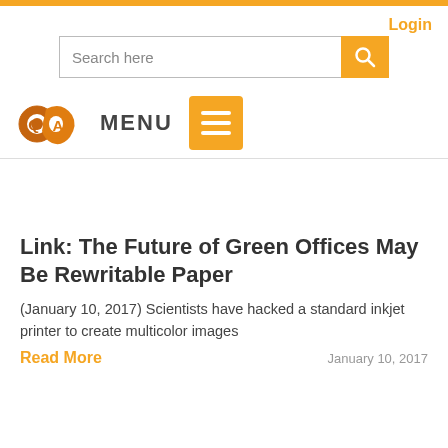Login
[Figure (screenshot): Search bar with text 'Search here' and an orange search button with magnifying glass icon]
[Figure (logo): QA logo in orange/brown with stylized letters]
MENU
[Figure (other): Orange hamburger menu button with three white horizontal lines]
Link: The Future of Green Offices May Be Rewritable Paper
(January 10, 2017) Scientists have hacked a standard inkjet printer to create multicolor images
Read More
January 10, 2017